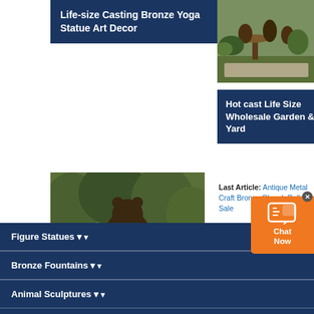Life-size Casting Bronze Yoga Statue Art Decor
[Figure (photo): Bronze garden sculpture with figures around a table near outdoor plant setting]
Hot cast Life Size Wholesale Garden & Yard
[Figure (photo): Life size bronze bear family group statue outdoors in garden setting]
Last Article: Antique Metal Craft Bronze Church Bell for Sale
Next Article: Metal Animal Art Life-Size Cast Bronze Bulldog Statue
Life Size Garden Bronze Bear Statue For Sale
Figure Statues
Bronze Fountains
Animal Sculptures